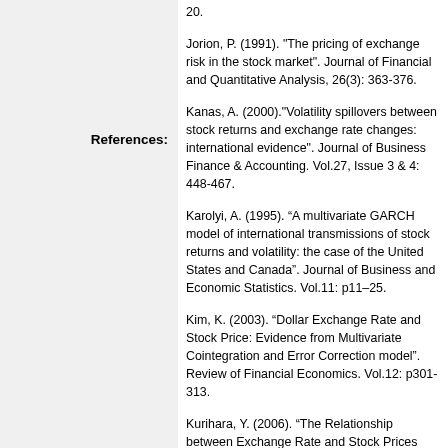References:
20.
Jorion, P. (1991). "The pricing of exchange risk in the stock market". Journal of Financial and Quantitative Analysis, 26(3): 363-376.
Kanas, A. (2000)."Volatility spillovers between stock returns and exchange rate changes: international evidence". Journal of Business Finance & Accounting. Vol.27, Issue 3 & 4: 448-467.
Karolyi, A. (1995). “A multivariate GARCH model of international transmissions of stock returns and volatility: the case of the United States and Canada”. Journal of Business and Economic Statistics. Vol.11: p11–25.
Kim, K. (2003). “Dollar Exchange Rate and Stock Price: Evidence from Multivariate Cointegration and Error Correction model”. Review of Financial Economics. Vol.12: p301-313.
Kurihara, Y. (2006). “The Relationship between Exchange Rate and Stock Prices during the Quantitative Easing policy in Japan”. International Journal of Business. Vol.11, Issue 4: p375-386.
Maghrebi, M. & Holmes, M. J. & Pentecost, E. J. (2006). “Are There Asymmetries in the Relationship Between Exchange Rate Fluctuations and Stock Market Volatility in Pacific Basin